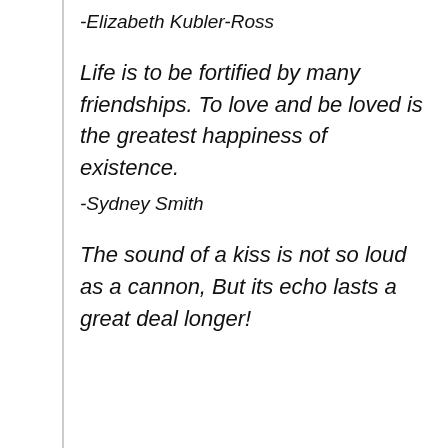-Elizabeth Kubler-Ross
Life is to be fortified by many friendships. To love and be loved is the greatest happiness of existence.
-Sydney Smith
The sound of a kiss is not so loud as a cannon, But its echo lasts a great deal longer!